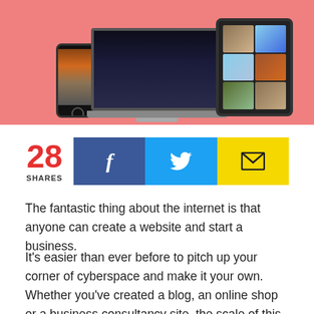[Figure (illustration): Hero image showing responsive web design mockup with a smartphone, laptop, and tablet on a coral/salmon pink background. Devices display photographic content.]
28 SHARES [Facebook share button] [Twitter share button] [Email share button]
The fantastic thing about the internet is that anyone can create a website and start a business.
It's easier than ever before to pitch up your corner of cyberspace and make it your own. Whether you've created a blog, an online shop or a business consultancy site, the scale of this is enormous. It's great news for those with an entrepreneurial spirit. Unfortunately, it has lead to